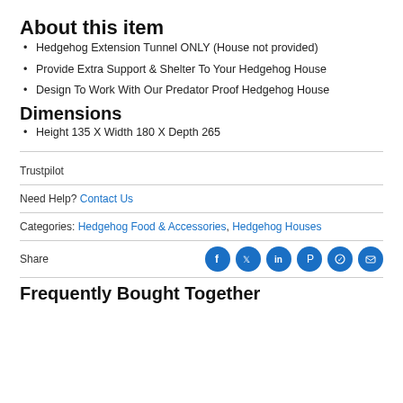About this item
Hedgehog Extension Tunnel ONLY (House not provided)
Provide Extra Support & Shelter To Your Hedgehog House
Design To Work With Our Predator Proof Hedgehog House
Dimensions
Height 135 X Width 180 X Depth 265
Trustpilot
Need Help? Contact Us
Categories: Hedgehog Food & Accessories, Hedgehog Houses
Share
Frequently Bought Together